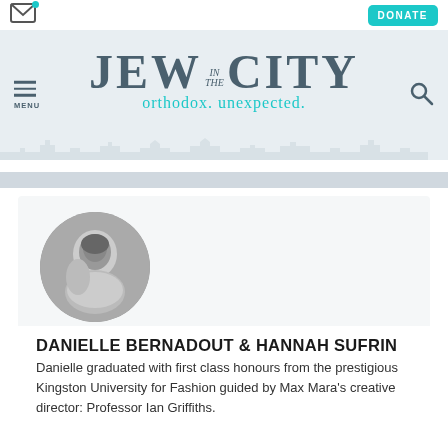Jew in the City — orthodox. unexpected.
[Figure (photo): Black and white circular portrait photo of Danielle Bernadout]
DANIELLE BERNADOUT & HANNAH SUFRIN
Danielle graduated with first class honours from the prestigious Kingston University for Fashion guided by Max Mara's creative director: Professor Ian Griffiths.